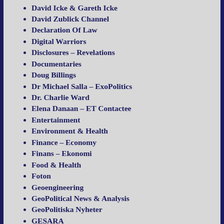David Icke & Gareth Icke
David Zublick Channel
Declaration Of Law
Digital Warriors
Disclosures – Revelations
Documentaries
Doug Billings
Dr Michael Salla – ExoPolitics
Dr. Charlie Ward
Elena Danaan – ET Contactee
Entertainment
Environment & Health
Finance – Economy
Finans – Ekonomi
Food & Health
Foton
Geoengineering
GeoPolitical News & Analysis
GeoPolitiska Nyheter
GESARA
GreatGameIndia News
Greg Hunter's USAWatchdog
Hälsa
Health
Health Impact News